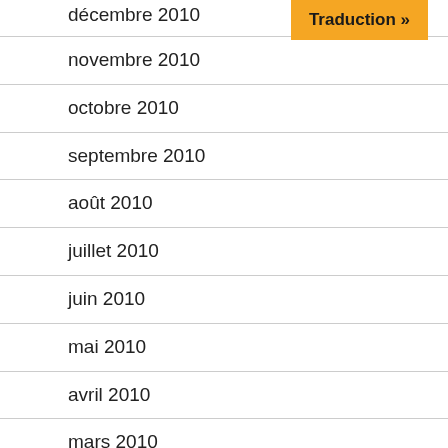décembre 2010 (truncated at top)
[Figure (other): Orange button labeled 'Traduction »']
novembre 2010
octobre 2010
septembre 2010
août 2010
juillet 2010
juin 2010
mai 2010
avril 2010
mars 2010
février 2010
janvier 2010